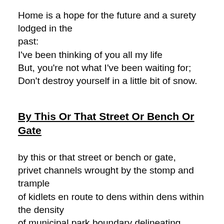Home is a hope for the future and a surety lodged in the past:
I've been thinking of you all my life
But, you're not what I've been waiting for;
Don't destroy yourself in a little bit of snow.
By This Or That Street Or Bench Or Gate
by this or that street or bench or gate,
privet channels wrought by the stomp and trample
of kidlets en route to dens within dens within the density
of municipal park boundary delineating thickets;
by this or that street or bench or gate,
eschewing the ‘No Ball Games’ cul-de-sacrilege,
the ‘No Cycling’ signs hammered aloft
by the ‘Bureau of Cut-Throughs’